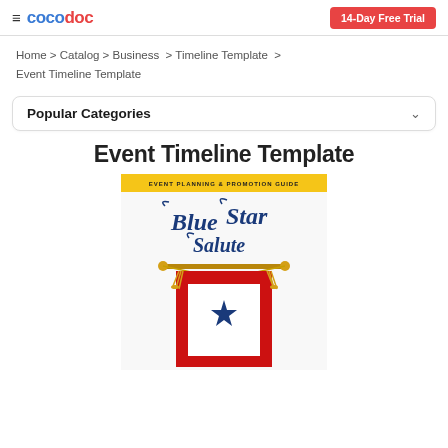≡ cocodoc  |  14-Day Free Trial
Home > Catalog > Business > Timeline Template > Event Timeline Template
Popular Categories
Event Timeline Template
[Figure (illustration): Document preview showing Blue Star Salute Event Planning & Promotion Guide cover with decorative script logo and a military service flag (red border with white center and blue star) hanging from a wooden rod with gold tassels.]